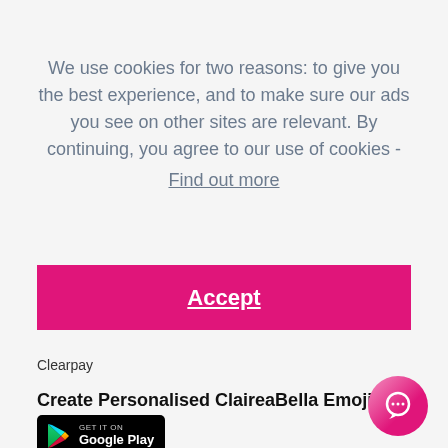We use cookies for two reasons: to give you the best experience, and to make sure our ads you see on other sites are relevant. By continuing, you agree to our use of cookies - Find out more
Accept
Clearpay
Create Personalised ClaireaBella Emojis
[Figure (logo): Google Play store badge with play arrow icon and text 'GET IT ON Google Play' on black background]